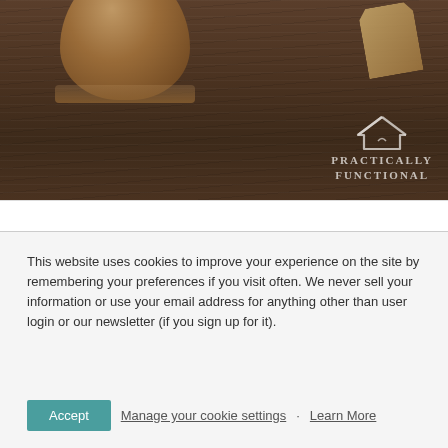[Figure (photo): Photo of a jar with a tag on a dark wood table surface, with a 'Practically Functional' logo watermark in the lower right corner]
This website uses cookies to improve your experience on the site by remembering your preferences if you visit often. We never sell your information or use your email address for anything other than user login or our newsletter (if you sign up for it).
Accept · Manage your cookie settings · Learn More